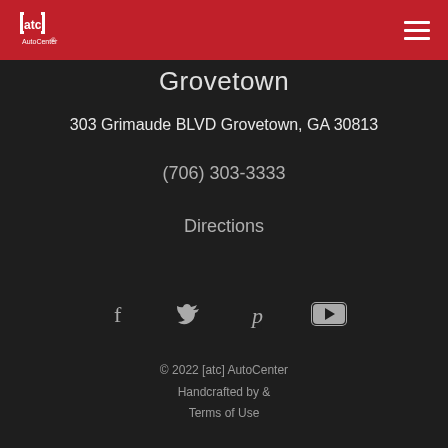[Figure (logo): ATC AutoCenter logo in white on red background, top left]
Grovetown
303 Grimaude BLVD Grovetown, GA 30813
(706) 303-3333
Directions
[Figure (infographic): Social media icons: Facebook, Twitter, Pinterest, YouTube]
© 2022 [atc] AutoCenter
Handcrafted by &
Terms of Use